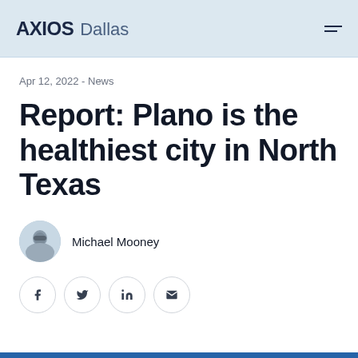AXIOS Dallas
Apr 12, 2022 - News
Report: Plano is the healthiest city in North Texas
Michael Mooney